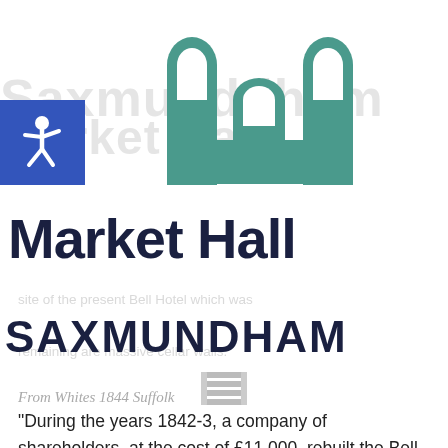[Figure (logo): Market Hall Saxmundham logo: three teal/green arch-topped rectangles arranged like fence posts forming an abstract M/hall shape]
[Figure (logo): Wheelchair accessibility icon: white wheelchair symbol on blue square background]
Market Hall
SAXMUNDHAM
From Whites 1844 Suffolk
“During the years 1842-3, a company of shareholders, at the cost of £11,000, rebuilt the Bell Inn, and erected a